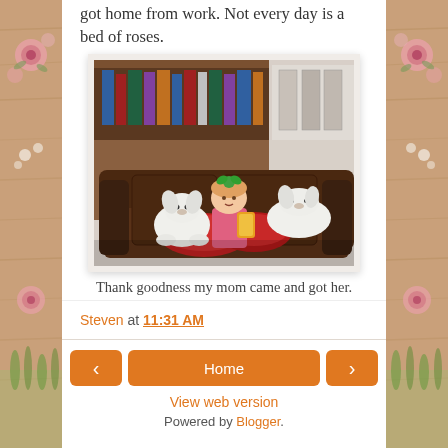got home from work. Not every day is a bed of roses.
[Figure (photo): A young girl with a green bow in her hair sitting on a dark brown leather sofa with two small white fluffy dogs. She is holding a snack bag. There are bookshelves visible in the background.]
Thank goodness my mom came and got her.
Steven at 11:31 AM
Home
View web version
Powered by Blogger.